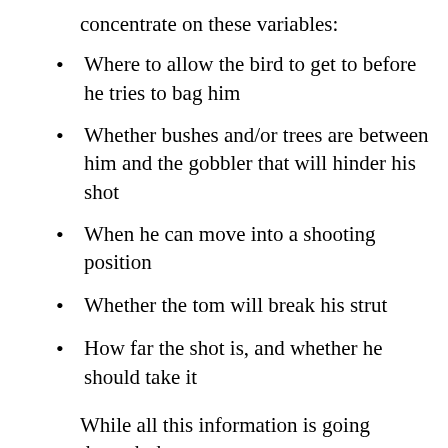concentrate on these variables:
Where to allow the bird to get to before he tries to bag him
Whether bushes and/or trees are between him and the gobbler that will hinder his shot
When he can move into a shooting position
Whether the tom will break his strut
How far the shot is, and whether he should take it
While all this information is going through the